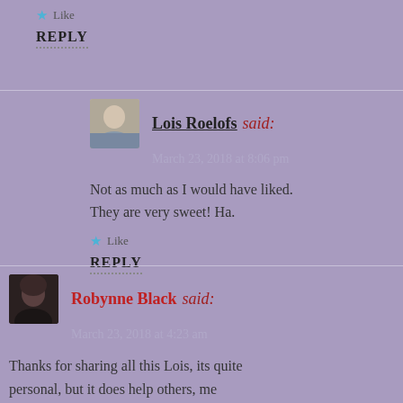★ Like
REPLY
Lois Roelofs said:
March 23, 2018 at 8:06 pm
Not as much as I would have liked. They are very sweet! Ha.
★ Like
REPLY
Robynne Black said:
March 23, 2018 at 4:23 am
Thanks for sharing all this Lois, its quite personal, but it does help others, me